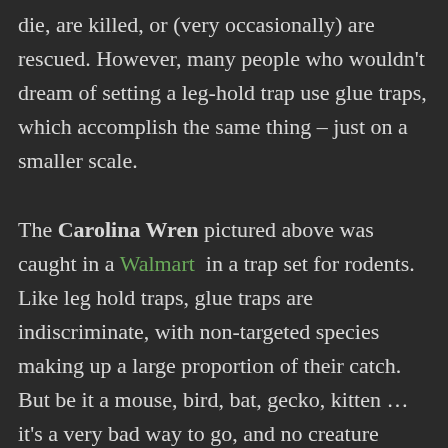die, are killed, or (very occasionally) are rescued. However, many people who wouldn't dream of setting a leg-hold trap use glue traps, which accomplish the same thing – just on a smaller scale.

The Carolina Wren pictured above was caught in a Walmart in a trap set for rodents. Like leg hold traps, glue traps are indiscriminate, with non-targeted species making up a large proportion of their catch. But be it a mouse, bird, bat, gecko, kitten … it's a very bad way to go, and no creature should have to suffer death by torture.